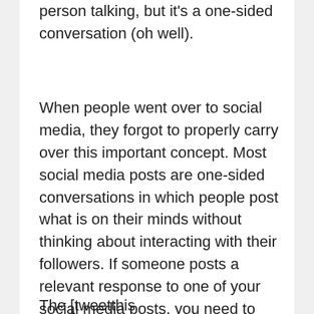person talking, but it's a one-sided conversation (oh well).
When people went over to social media, they forgot to properly carry over this important concept. Most social media posts are one-sided conversations in which people post what is on their minds without thinking about interacting with their followers. If someone posts a relevant response to one of your social media posts, you need to respond to that person. The strongest relationships that develop via social media start with interaction.
The [tweetthis